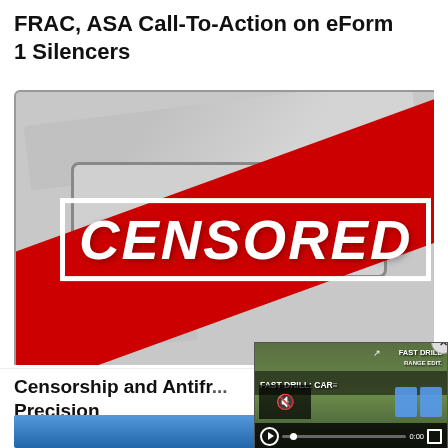FRAC, ASA Call-To-Action on eForm 1 Silencers
[Figure (photo): Censored image of a firearm (Aero Precision branded), with a large red diagonal banner reading 'CENSORED' overlaid on top.]
Censorship and Antifr... Precision
[Figure (screenshot): Small video popup in bottom-right showing a 'FAST DRILL: CAR...' shooting drill video with playback controls, mute icon, and timestamp 0:00.]
[Figure (photo): Partially visible blue image at bottom left (another article thumbnail).]